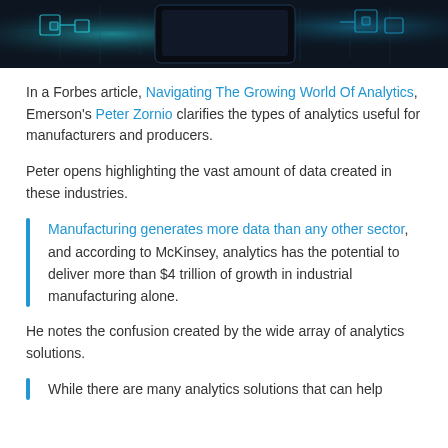[Figure (photo): Top portion of a dark-themed photo showing glowing blue circuit board or industrial robotics elements against a dark background.]
In a Forbes article, Navigating The Growing World Of Analytics, Emerson's Peter Zornio clarifies the types of analytics useful for manufacturers and producers.
Peter opens highlighting the vast amount of data created in these industries.
Manufacturing generates more data than any other sector, and according to McKinsey, analytics has the potential to deliver more than $4 trillion of growth in industrial manufacturing alone.
He notes the confusion created by the wide array of analytics solutions.
While there are many analytics solutions that can help